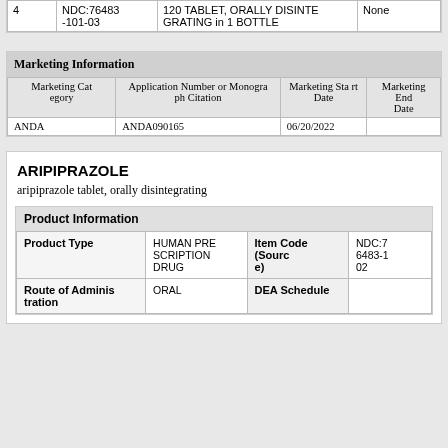|  | NDC | Description | Marketing End Date |
| --- | --- | --- | --- |
| 4 | NDC:76483-101-03 | 120 TABLET, ORALLY DISINTEGRATING in 1 BOTTLE | None |
| Marketing Category | Application Number or Monograph Citation | Marketing Start Date | Marketing End Date |
| --- | --- | --- | --- |
| ANDA | ANDA090165 | 06/20/2022 |  |
ARIPIPRAZOLE
aripiprazole tablet, orally disintegrating
| Product Type | HUMAN PRESCRIPTION DRUG | Item Code (Source) | NDC:76483-102 |
| --- | --- | --- | --- |
| Route of Administration | ORAL | DEA Schedule |  |